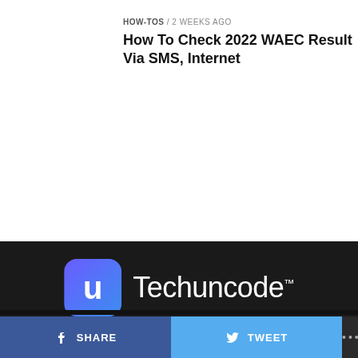[Figure (photo): Thumbnail photo of students writing in an exam hall, wearing yellow uniforms]
HOW-TOS / 2 weeks ago
How To Check 2022 WAEC Result Via SMS, Internet
[Figure (logo): Techuncode logo with blue gradient U icon and white Techuncode TM text]
[Figure (other): Row of 6 social media icon buttons (dark circular)]
HOME
ABOUT US
EVENT
PRIVACY POLICY
ETHICS STATEMENT
ADVERTISE WITH US
CONTACT US
SHARE   TWEET   ...